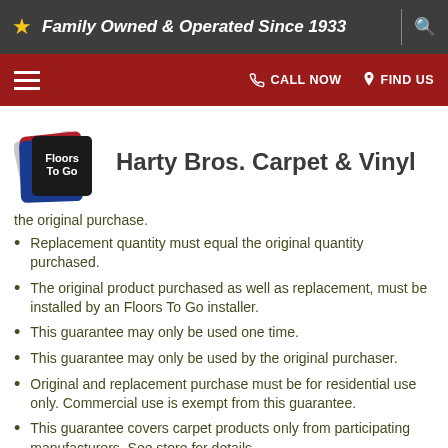Family Owned & Operated Since 1933
[Figure (logo): Floors To Go logo — black square with white text 'Floors To Go' and decorative red/blue flag shapes]
Harty Bros. Carpet & Vinyl
the original purchase.
Replacement quantity must equal the original quantity purchased.
The original product purchased as well as replacement, must be installed by an Floors To Go installer.
This guarantee may only be used one time.
This guarantee may only be used by the original purchaser.
Original and replacement purchase must be for residential use only. Commercial use is exempt from this guarantee.
This guarantee covers carpet products only from participating manufacturers. See store for details.